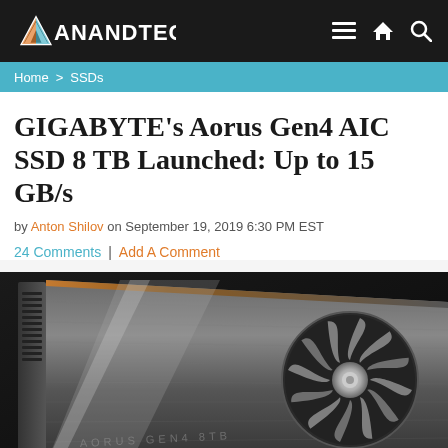AnandTech
Home > SSDs
GIGABYTE's Aorus Gen4 AIC SSD 8 TB Launched: Up to 15 GB/s
by Anton Shilov on September 19, 2019 6:30 PM EST
24 Comments | Add A Comment
[Figure (photo): Photo of the GIGABYTE Aorus Gen4 AIC SSD, a large card resembling a GPU with brushed metal finish and a single fan cooler, shown at an angle against a dark background]